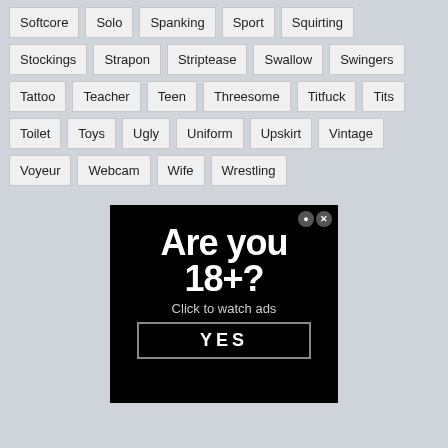Softcore, Solo, Spanking, Sport, Squirting, Stockings, Strapon, Striptease, Swallow, Swingers, Tattoo, Teacher, Teen, Threesome, Titfuck, Tits, Toilet, Toys, Ugly, Uniform, Upskirt, Vintage, Voyeur, Webcam, Wife, Wrestling
[Figure (screenshot): Age verification advertisement on black background. Large white bold text reads 'Are you 18+?' with subtext 'Click to watch ads' and a YES button outlined in gray. Close buttons in top right corner.]